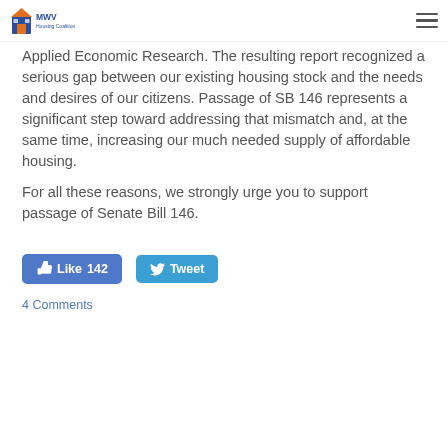MWV Housing Coalition
Applied Economic Research. The resulting report recognized a serious gap between our existing housing stock and the needs and desires of our citizens. Passage of SB 146 represents a significant step toward addressing that mismatch and, at the same time, increasing our much needed supply of affordable housing.
For all these reasons, we strongly urge you to support passage of Senate Bill 146.
[Figure (other): Social sharing buttons: Like 142 (Facebook) and Tweet (Twitter)]
4 Comments